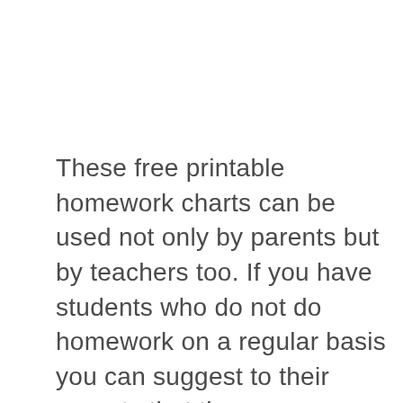These free printable homework charts can be used not only by parents but by teachers too. If you have students who do not do homework on a regular basis you can suggest to their parents that they use a homework chart (or even print one for them) to help provide them with a useful tool that might encourage your student to do